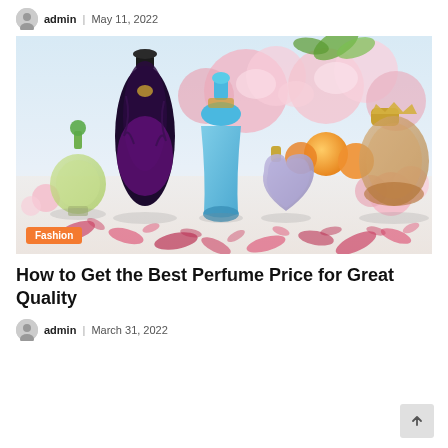admin | May 11, 2022
[Figure (photo): Collection of perfume bottles of various shapes and colors arranged with pink flowers, roses, and citrus fruits on a white surface with scattered rose petals. A 'Fashion' category badge is shown in the bottom-left corner of the image.]
How to Get the Best Perfume Price for Great Quality
admin | March 31, 2022